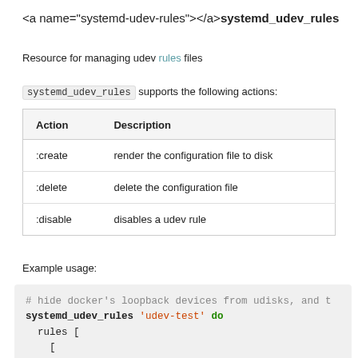<a name="systemd-udev-rules"></a>systemd_udev_rules
Resource for managing udev rules files
systemd_udev_rules supports the following actions:
| Action | Description |
| --- | --- |
| :create | render the configuration file to disk |
| :delete | delete the configuration file |
| :disable | disables a udev rule |
Example usage:
# hide docker's loopback devices from udisks, and t
systemd_udev_rules 'udev-test' do
  rules [
    [
      {
        'key' => 'SUBSYSTEM',